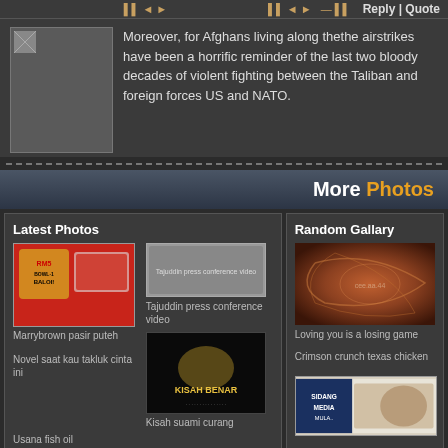Reply | Quote
Moreover, for Afghans living along thethe airstrikes have been a horrific reminder of the last two bloody decades of violent fighting between the Taliban and foreign forces US and NATO.
More Photos
Latest Photos
[Figure (photo): Marrybrown RM5 Bowl-1 Baloi food promotion image]
Marrybrown pasir puteh
[Figure (photo): Tajuddin press conference video thumbnail]
Tajuddin press conference video
Novel saat kau takluk cinta ini
[Figure (photo): Kisah Benar lion image with text KISAH BENAR]
Kisah suami curang
Usana fish oil
Random Gallary
[Figure (photo): Abstract brown lion swirl artwork]
Loving you is a losing game
Crimson crunch texas chicken
[Figure (photo): Sidang Media thumbnail]